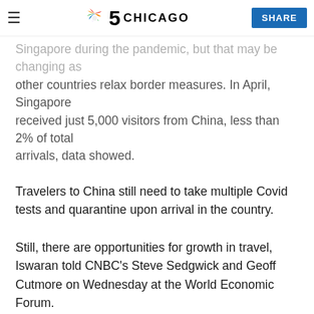NBC 5 Chicago — SHARE
Singapore during the pandemic, but that may be changing as other countries relax border measures. In April, Singapore received just 5,000 visitors from China, less than 2% of total arrivals, data showed.
Travelers to China still need to take multiple Covid tests and quarantine upon arrival in the country.
Still, there are opportunities for growth in travel, Iswaran told CNBC's Steve Sedgwick and Geoff Cutmore on Wednesday at the World Economic Forum.
Money Report
11 MINS AGO
Asia-Pacific Markets Set to Drop Following Powell's Speech at Jackson...